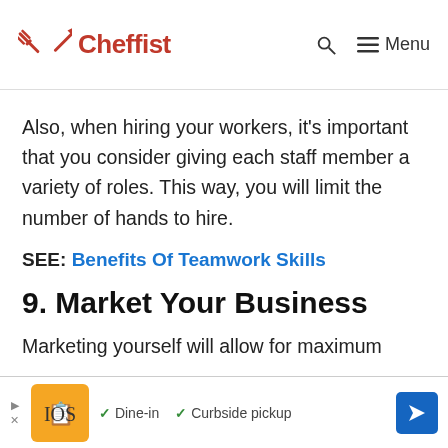Cheffist
Also, when hiring your workers, it's important that you consider giving each staff member a variety of roles. This way, you will limit the number of hands to hire.
SEE: Benefits Of Teamwork Skills
9. Market Your Business
Marketing yourself will allow for maximum